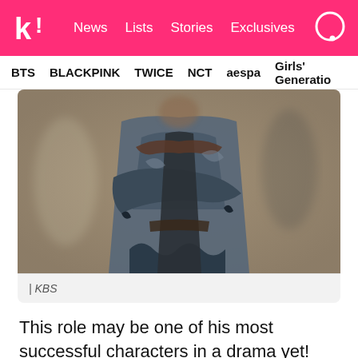K! News  Lists  Stories  Exclusives
BTS  BLACKPINK  TWICE  NCT  aespa  Girls' Generation
[Figure (photo): Person wearing tattered dark blue/grey Korean historical drama costume (hanbok-style), arms crossed, blurred background with other figures]
| KBS
This role may be one of his most successful characters in a drama yet!